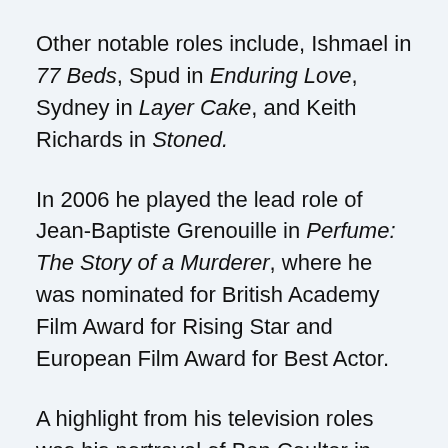Other notable roles include, Ishmael in 77 Beds, Spud in Enduring Love, Sydney in Layer Cake, and Keith Richards in Stoned.
In 2006 he played the lead role of Jean-Baptiste Grenouille in Perfume: The Story of a Murderer, where he was nominated for British Academy Film Award for Rising Star and European Film Award for Best Actor.
A highlight from his television roles was his portrayal of Ben Coulter in Criminal Justice for which he was awarded International Emmy for Best Actor, Royal Television Society Award for Best Actor, and nominated for British Academy Television Award for Best Actor.